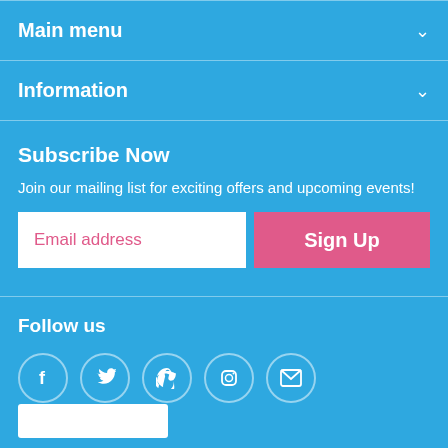Main menu
Information
Subscribe Now
Join our mailing list for exciting offers and upcoming events!
Email address
Sign Up
Follow us
[Figure (infographic): Social media icons: Facebook, Twitter, Pinterest, Instagram, Email in circular outlines on blue background]